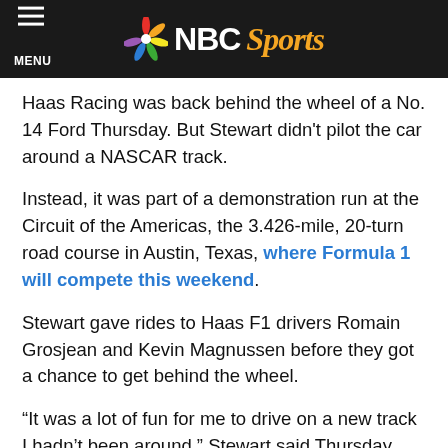NBC Sports
Haas Racing was back behind the wheel of a No. 14 Ford Thursday. But Stewart didn't pilot the car around a NASCAR track.
Instead, it was part of a demonstration run at the Circuit of the Americas, the 3.426-mile, 20-turn road course in Austin, Texas, where Formula 1 will compete this weekend.
Stewart gave rides to Haas F1 drivers Romain Grosjean and Kevin Magnussen before they got a chance to get behind the wheel.
“It was a lot of fun for me to drive on a new track I hadn’t been around,” Stewart said Thursday afternoon on SiriusXM NASCAR Radio’s “SiriusXM Speedway.” “It was fun for me to watch those guys that know the track drive a car they’re unfamiliar with. Most of all, I think the most